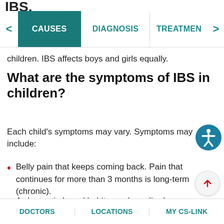IBS.
[Figure (screenshot): Navigation tab bar with CAUSES (active, teal background), DIAGNOSIS, TREATMENT tabs and left/right arrows]
children. IBS affects boys and girls equally.
What are the symptoms of IBS in children?
Each child's symptoms may vary. Symptoms may include:
Belly pain that keeps coming back. Pain that continues for more than 3 months is long-term (chronic).
A change in bowel habits, such as diarrhea or constipation
DOCTORS   LOCATIONS   MY CS-LINK